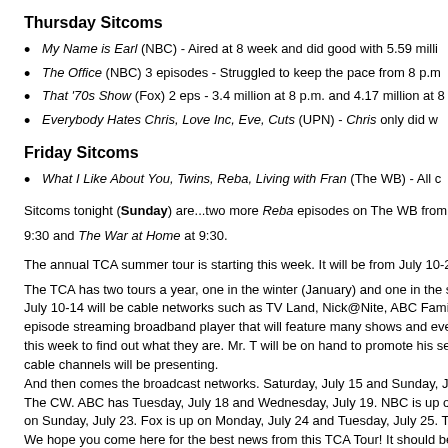Thursday Sitcoms
My Name is Earl (NBC) - Aired at 8 week and did good with 5.59 milli…
The Office (NBC) 3 episodes - Struggled to keep the pace from 8 p.m…
That '70s Show (Fox) 2 eps - 3.4 million at 8 p.m. and 4.17 million at 8…
Everybody Hates Chris, Love Inc, Eve, Cuts (UPN) - Chris only did w…
Friday Sitcoms
What I Like About You, Twins, Reba, Living with Fran (The WB) - All c…
Sitcoms tonight (Sunday) are...two more Reba episodes on The WB from 7 9:30 and The War at Home at 9:30.
The annual TCA summer tour is starting this week. It will be from July 10-28, The TCA has two tours a year, one in the winter (January) and one in the su… July 10-14 will be cable networks such as TV Land, Nick@Nite, ABC Family, episode streaming broadband player that will feature many shows and even this week to find out what they are. Mr. T will be on hand to promote his serie cable channels will be presenting. And then comes the broadcast networks. Saturday, July 15 and Sunday, July The CW. ABC has Tuesday, July 18 and Wednesday, July 19. NBC is up on on Sunday, July 23. Fox is up on Monday, July 24 and Tuesday, July 25. The We hope you come here for the best news from this TCA Tour! It should be a
POSTED BY PAVAN -- SITCOMSONLINE.COM AT 5:10 PM
SATURDAY, JULY 08, 2006